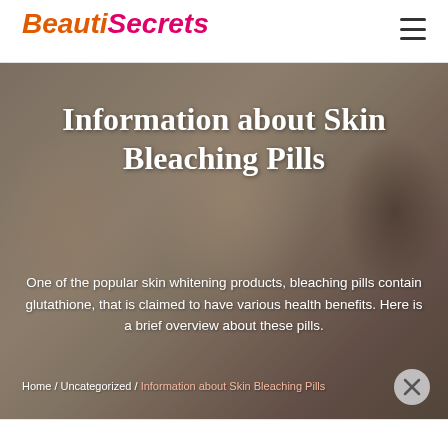BeautiSecrets
[Figure (photo): Three women smiling with faces close together, used as hero background image for a beauty/skin care article]
Information about Skin Bleaching Pills
One of the popular skin whitening products, bleaching pills contain glutathione, that is claimed to have various health benefits. Here is a brief overview about these pills.
Home / Uncategorized / Information about Skin Bleaching Pills